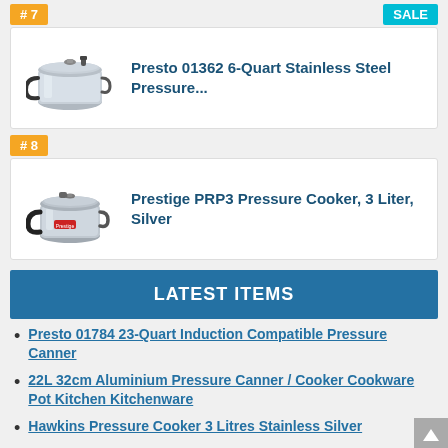# 7
[Figure (photo): Presto stainless steel pressure cooker product image]
Presto 01362 6-Quart Stainless Steel Pressure...
# 8
[Figure (photo): Prestige PRP3 silver pressure cooker product image]
Prestige PRP3 Pressure Cooker, 3 Liter, Silver
LATEST ITEMS
Presto 01784 23-Quart Induction Compatible Pressure Canner
22L 32cm Aluminium Pressure Canner / Cooker Cookware Pot Kitchen Kitchenware
Hawkins Pressure Cooker 3 Litres Stainless Silver